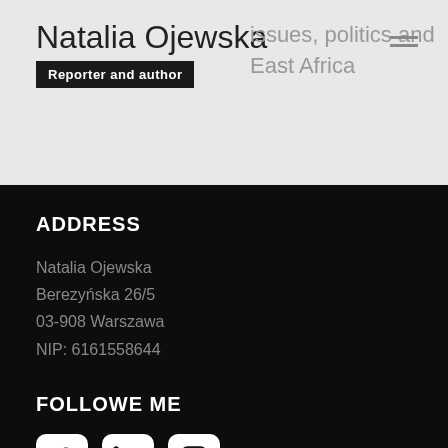Natalia Ojewska Reporter and author
issues, politics and East Africa
ADDRESS
Natalia Ojewska
Berezyńska 26/5
03-908 Warszawa
NIP: 6161558644
FOLLOWE ME
[Figure (illustration): Social media icons for Twitter, LinkedIn, and Instagram]